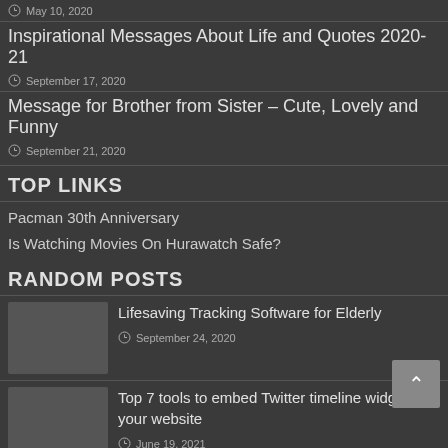May 10, 2020
Inspirational Messages About Life and Quotes 2020-21
September 17, 2020
Message for Brother from Sister – Cute, Lovely and Funny
September 21, 2020
TOP LINKS
Pacman 30th Anniversary
Is Watching Movies On Hurawatch Safe?
RANDOM POSTS
Lifesaving Tracking Software for Elderly
September 24, 2020
Top 7 tools to embed Twitter timeline widget on your website
June 19, 2021
Horoscope Today: Astrological prediction for...